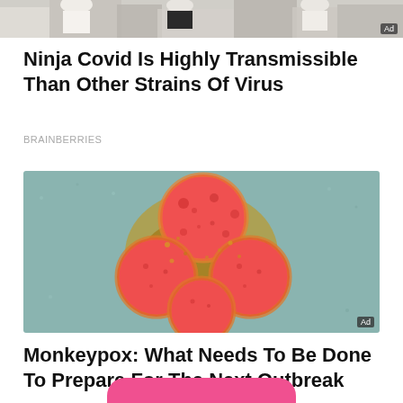[Figure (photo): Cropped top strip of a photo showing people walking on a street, partial view — appears to be a stock photo of people in public setting. Ad badge visible in corner.]
Ninja Covid Is Highly Transmissible Than Other Strains Of Virus
BRAINBERRIES
[Figure (photo): Electron microscope image of virus particles (monkeypox/coronavirus) — spherical red/orange particles with textured surfaces clustered together on a greenish/gold background. Ad badge visible in corner.]
Monkeypox: What Needs To Be Done To Prepare For The Next Outbreak
BRAINBERRIES
[Figure (other): Partial view of a pink rounded button at the bottom of the page.]